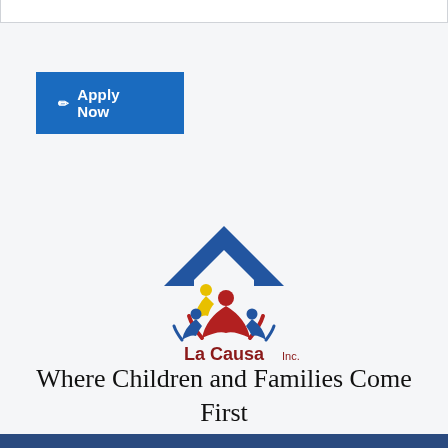✏ Apply Now
[Figure (logo): La Causa Inc. logo: blue roof/house shape over stylized figures of a family (red adult, blue child, yellow child) with text 'La Causa Inc.' in dark red/maroon]
Where Children and Families Come First